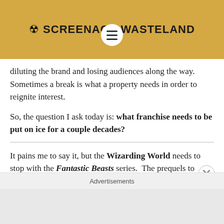SCREENAGE WASTELAND
Last week, we asked how soon a studio should wait before rebooting a franchise. This week, we're going even farther. Some franchises continue to churn out sequels or spin-offs or TV shows of the same property diluting the brand and losing audiences along the way. Sometimes a break is what a property needs in order to reignite interest.
So, the question I ask today is: what franchise needs to be put on ice for a couple decades?
It pains me to say it, but the Wizarding World needs to stop with the Fantastic Beasts series. The prequels to
Advertisements